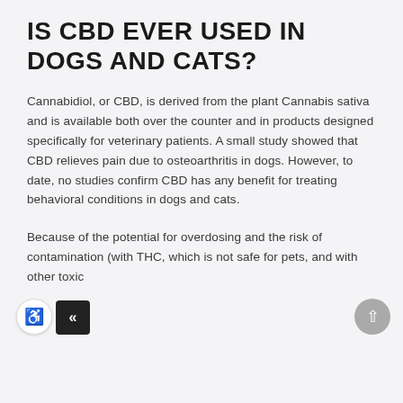IS CBD EVER USED IN DOGS AND CATS?
Cannabidiol, or CBD, is derived from the plant Cannabis sativa and is available both over the counter and in products designed specifically for veterinary patients. A small study showed that CBD relieves pain due to osteoarthritis in dogs. However, to date, no studies confirm CBD has any benefit for treating behavioral conditions in dogs and cats.
Because of the potential for overdosing and the risk of contamination (with THC, which is not safe for pets, and with other toxic